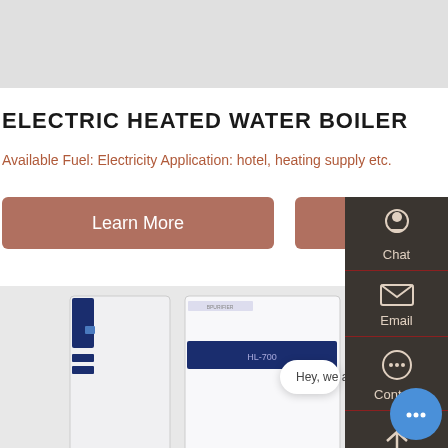[Figure (photo): Gray banner area at top of page]
ELECTRIC HEATED WATER BOILER
Available Fuel: Electricity Application: hotel, heating supply etc.
Learn More
Free Chat
[Figure (photo): Electric heated water boiler unit - tall white and dark blue appliance with control panel display and brand label]
Chat
Email
Contact
Hey, we are live 24/7. How may I help you?